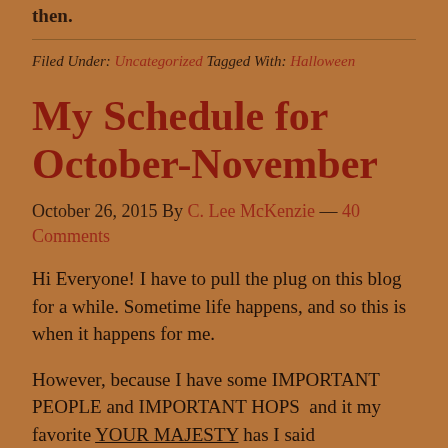then.
Filed Under: Uncategorized Tagged With: Halloween
My Schedule for October-November
October 26, 2015 By C. Lee McKenzie — 40 Comments
Hi Everyone! I have to pull the plug on this blog for a while. Sometime life happens, and so this is when it happens for me.
However, because I have some IMPORTANT PEOPLE and IMPORTANT HOPS  and it my favorite YOUR MAJESTY has I said